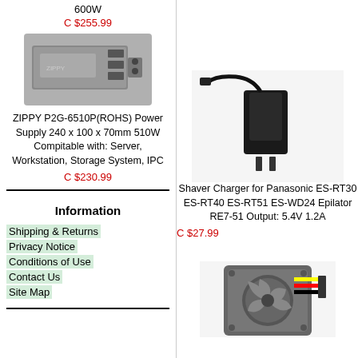600W
C $255.99
[Figure (photo): ZIPPY power supply unit, silver metallic box shape]
ZIPPY P2G-6510P(ROHS) Power Supply 240 x 100 x 70mm 510W Compitable with: Server, Workstation, Storage System, IPC
C $230.99
Information
Shipping & Returns
Privacy Notice
Conditions of Use
Contact Us
Site Map
[Figure (photo): Black shaver charger/power adapter with plug prongs and cable]
Shaver Charger for Panasonic ES-RT30 ES-RT40 ES-RT51 ES-WD24 Epilator RE7-51 Output: 5.4V 1.2A
C $27.99
[Figure (photo): Small black computer cooling fan with yellow/red/black connector wires]